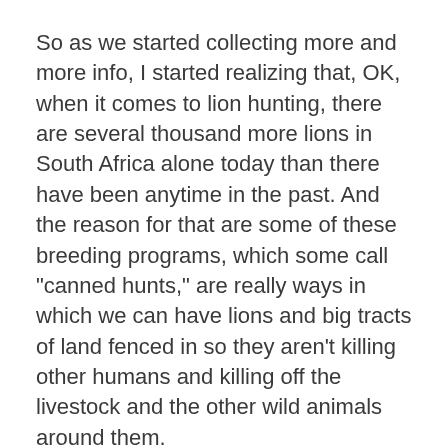So as we started collecting more and more info, I started realizing that, OK, when it comes to lion hunting, there are several thousand more lions in South Africa alone today than there have been anytime in the past. And the reason for that are some of these breeding programs, which some call "canned hunts," are really ways in which we can have lions and big tracts of land fenced in so they aren't killing other humans and killing off the livestock and the other wild animals around them.
So now, on these big tracts of land, these lions can actually thrive there and be supported there and taken care of, as well as be hunted. And the numbers in South Africa have thrived.
In Botswana, whenever they decided to ban lion hunting, now we're at a place where there's no value attached to that lion. When there's no value to a lion...